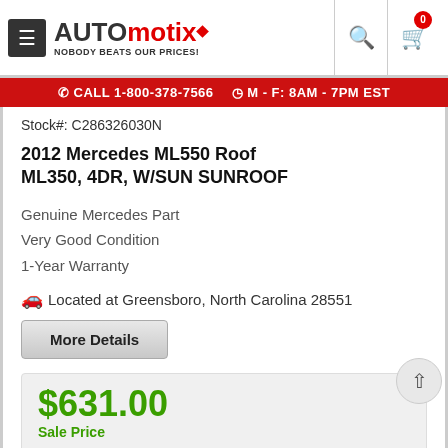[Figure (logo): Automotix logo with hamburger menu, search and cart icons]
CALL 1-800-378-7566   M - F: 8AM - 7PM EST
Stock#: C286326030N
2012 Mercedes ML550 Roof ML350, 4DR, W/SUN SUNROOF
Genuine Mercedes Part
Very Good Condition
1-Year Warranty
Located at Greensboro, North Carolina 28551
More Details
$631.00 Sale Price
Call To Order